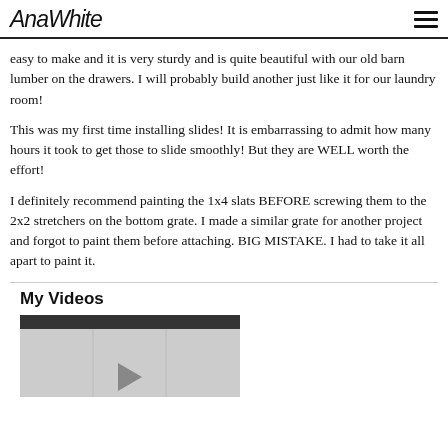AnaWhite
easy to make and it is very sturdy and is quite beautiful with our old barn lumber on the drawers. I will probably build another just like it for our laundry room!
This was my first time installing slides! It is embarrassing to admit how many hours it took to get those to slide smoothly! But they are WELL worth the effort!
I definitely recommend painting the 1x4 slats BEFORE screwing them to the 2x2 stretchers on the bottom grate. I made a similar grate for another project and forgot to paint them before attaching. BIG MISTAKE. I had to take it all apart to paint it.
My Videos
[Figure (screenshot): Video thumbnail placeholder with dark top bar and light gray area with a play arrow icon]